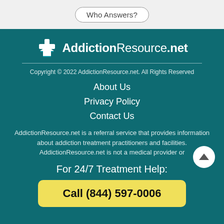Who Answers?
[Figure (logo): AddictionResource.net logo with white arrow/cross icon]
Copyright © 2022 AddictionResource.net. All Rights Reserved
About Us
Privacy Policy
Contact Us
AddictionResource.net is a referral service that provides information about addiction treatment practitioners and facilities. AddictionResource.net is not a medical provider or
For 24/7 Treatment Help:
Call (844) 597-0006